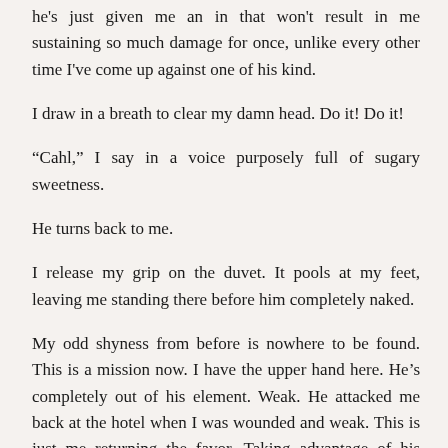he's just given me an in that won't result in me sustaining so much damage for once, unlike every other time I've come up against one of his kind.
I draw in a breath to clear my damn head. Do it! Do it!
“Cahl,” I say in a voice purposely full of sugary sweetness.
He turns back to me.
I release my grip on the duvet. It pools at my feet, leaving me standing there before him completely naked.
My odd shyness from before is nowhere to be found. This is a mission now. I have the upper hand here. He’s completely out of his element. Weak. He attacked me back at the hotel when I was wounded and weak. This is just me returning the favor. Taking advantage of his vulnerability.
But his reaction surprises me.